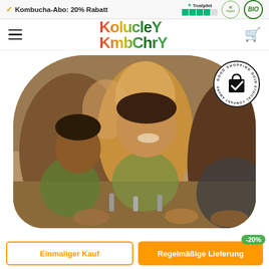✓ Kombucha-Abo: 20% Rabatt
[Figure (logo): Trustpilot rating with green stars, Vegan badge, BIO badge]
[Figure (logo): Kolucley Kombuchy brand logo in multicolor gradient text]
[Figure (photo): Children smiling and playing with water taps, Ethiopian children, charity/social impact photo with rounded top border]
[Figure (logo): Good Shopping Guide Ethical Company Award circular badge with shopping bag and checkmark icon]
Einmaliger Kauf
Regelmäßige Lieferung
-20%